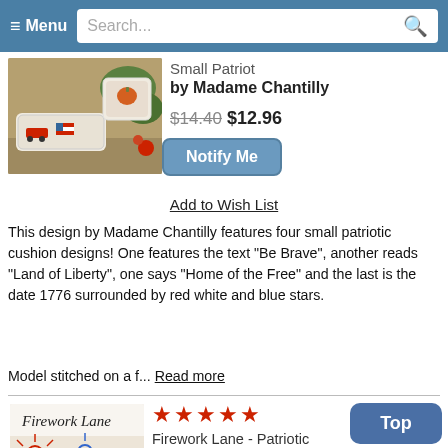≡ Menu | Search...
[Figure (photo): Photo of patriotic cushion designs with red truck, American flag camper, and holiday decorations on a wooden surface]
by Madame Chantilly
$14.40 $12.96
Notify Me
Add to Wish List
This design by Madame Chantilly features four small patriotic cushion designs! One features the text "Be Brave", another reads "Land of Liberty", one says "Home of the Free" and the last is the date 1776 surrounded by red white and blue stars.
Model stitched on a f... Read more
[Figure (photo): Photo of Firework Lane cross stitch pattern showing houses and fireworks on fabric]
★★★★★ Firework Lane - Patriotic Cross Stitch Patte... by Little Stitch Gi...
$11.00